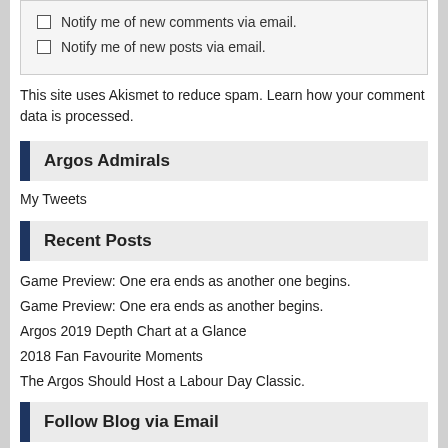Notify me of new comments via email.
Notify me of new posts via email.
This site uses Akismet to reduce spam. Learn how your comment data is processed.
Argos Admirals
My Tweets
Recent Posts
Game Preview: One era ends as another one begins.
Game Preview: One era ends as another begins.
Argos 2019 Depth Chart at a Glance
2018 Fan Favourite Moments
The Argos Should Host a Labour Day Classic.
Follow Blog via Email